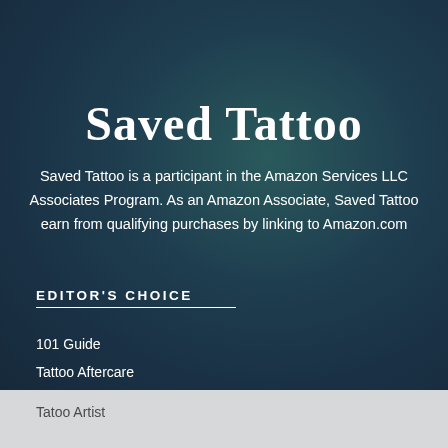Saved Tattoo
Saved Tattoo is a participant in the Amazon Services LLC Associates Program. As an Amazon Associate, Saved Tattoo earn from qualifying purchases by linking to Amazon.com
EDITOR'S CHOICE
101 Guide
Tattoo Aftercare
Tatoo Artist